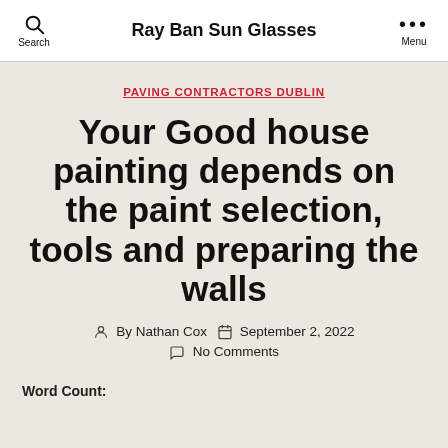Ray Ban Sun Glasses
PAVING CONTRACTORS DUBLIN
Your Good house painting depends on the paint selection, tools and preparing the walls
By Nathan Cox   September 2, 2022
No Comments
Word Count: